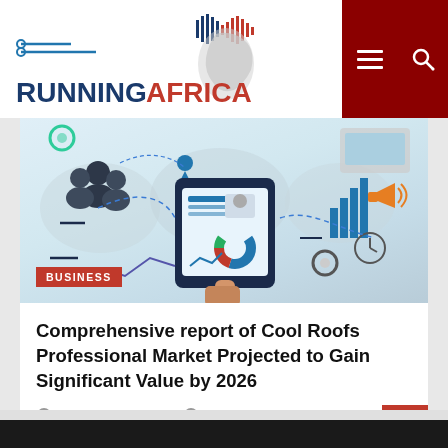RUNNINGAFRICA
[Figure (screenshot): Business/digital marketing infographic illustration showing a tablet, business icons, charts, gears, shopping cart, people icons, megaphone, and world map in the background]
BUSINESS
Comprehensive report of Cool Roofs Professional Market Projected to Gain Significant Value by 2026
Date: May 16, 2022   Admin